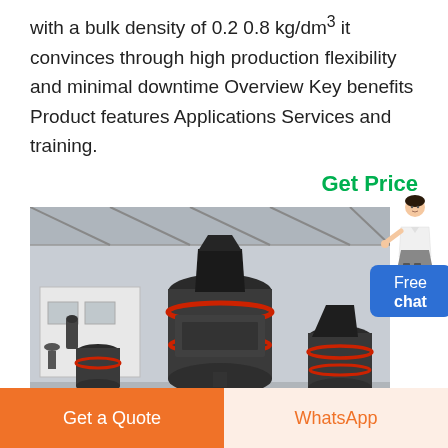with a bulk density of 0.2 0.8 kg/dm³ it convinces through high production flexibility and minimal downtime Overview Key benefits Product features Applications Services and training.
Get Price
[Figure (photo): Industrial grinding mill machines in a factory/warehouse setting. Large dark grey vertical mill machines with red accent rings visible. Industrial building with steel roof structure in background.]
[Figure (illustration): Chat widget: illustrated woman in business attire with a blue Free chat button below.]
Get a Quote
WhatsApp